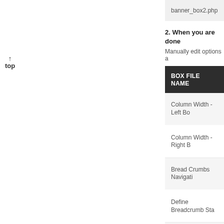↑
top
banner_box2.php
2. When you are done
Manually edit options a
| BOX FILE NAME |
| --- |
| Column Width - Left Bo |
| Column Width - Right B |
| Bread Crumbs Navigati |
| Define Breadcrumb Sta |
| Bestsellers - Number Pa |
| Bestsellers - Truncate P |